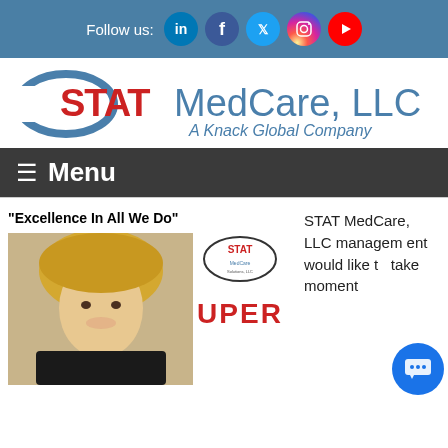Follow us: [LinkedIn] [Facebook] [Twitter] [Instagram] [YouTube]
[Figure (logo): STAT MedCare, LLC - A Knack Global Company logo with blue ellipse and red/blue text]
≡ Menu
"Excellence In All We Do"
[Figure (photo): Portrait photo of a blonde woman smiling, alongside STAT MedCare Solutions LLC SuperStar vertical logo]
STAT MedCare, LLC management would like to take a moment